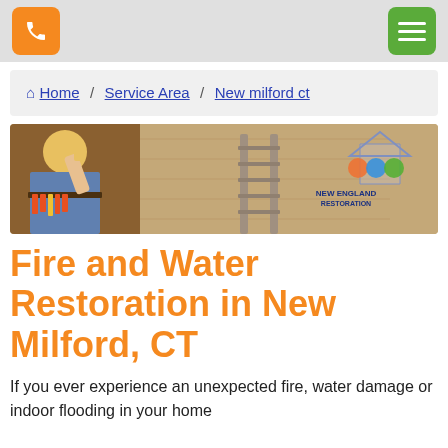Phone button | Menu button
Home / Service Area / New milford ct
[Figure (photo): Worker with tool belt in a construction/restoration scene, with New England Restoration logo overlay on the right side]
Fire and Water Restoration in New Milford, CT
If you ever experience an unexpected fire, water damage or indoor flooding in your home